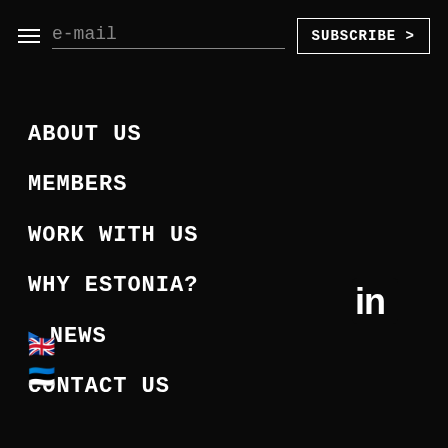e-mail [input field]
SUBSCRIBE >
ABOUT US
MEMBERS
WORK WITH US
WHY ESTONIA?
► NEWS
CONTACT US
[Figure (illustration): UK flag emoji]
[Figure (illustration): Estonia flag emoji]
[Figure (logo): LinkedIn 'in' logo icon in white]